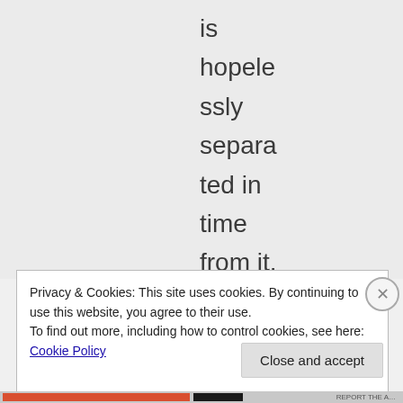is hopelessly separated in time from it. By that time
Privacy & Cookies: This site uses cookies. By continuing to use this website, you agree to their use.
To find out more, including how to control cookies, see here: Cookie Policy